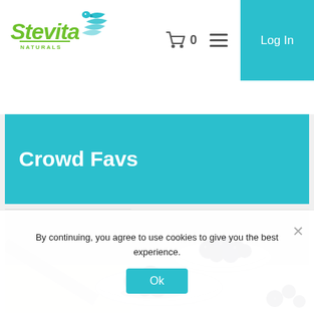[Figure (logo): Stevita Naturals logo with green text and teal bird/leaf graphic]
[Figure (screenshot): Shopping cart icon with 0 count and hamburger menu icon]
Log In
Crowd Favs
[Figure (photo): Photo of two glass bowls containing blueberries on a white surface, with a loose blueberry in the foreground]
By continuing, you agree to use cookies to give you the best experience.
Ok